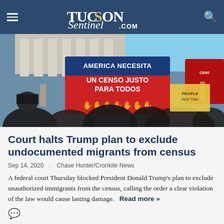TucsonSentinel.com
[Figure (photo): Protesters outside a government building holding signs in Spanish that read 'AMERICA NECESITA UN CENSO JUSTO PARA TODOS' (America needs a fair census for everyone) with raised hand prints on red signs]
Court halts Trump plan to exclude undocumented migrants from census
Sep 14, 2020  ◇  Chase Hunter/Cronkite News
A federal court Thursday blocked President Donald Trump's plan to exclude unauthorized immigrants from the census, calling the order a clear violation of the law would cause lasting damage.  Read more »